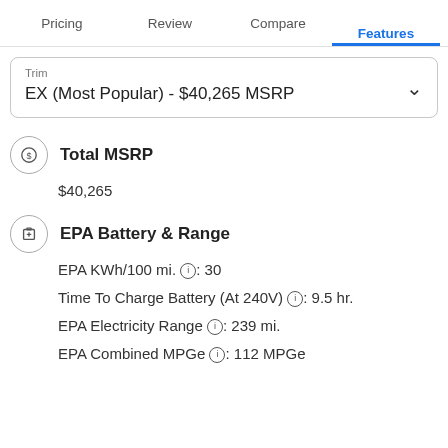Pricing   Review   Compare   Features
Trim
EX (Most Popular) - $40,265 MSRP
Total MSRP
$40,265
EPA Battery & Range
EPA KWh/100 mi. ⓘ: 30
Time To Charge Battery (At 240V) ⓘ: 9.5 hr.
EPA Electricity Range ⓘ: 239 mi.
EPA Combined MPGe ⓘ: 112 MPGe